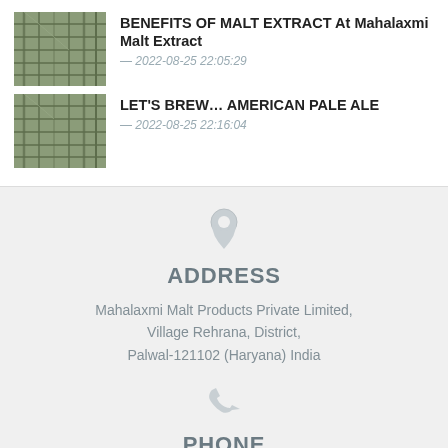[Figure (photo): Thumbnail image of industrial scaffolding or metal structure interior, greenish-brown tones]
BENEFITS OF MALT EXTRACT At Mahalaxmi Malt Extract
— 2022-08-25 22:05:29
[Figure (photo): Thumbnail image of industrial scaffolding or metal structure interior, similar to first image]
LET'S BREW… AMERICAN PALE ALE
— 2022-08-25 22:16:04
ADDRESS
Mahalaxmi Malt Products Private Limited, Village Rehrana, District, Palwal-121102 (Haryana) India
PHONE
+91-0-9991090166,